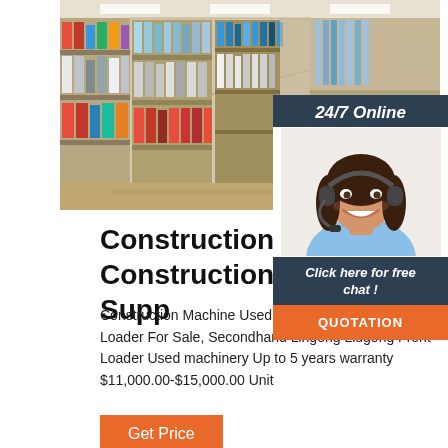[Figure (photo): Photo of store shelves filled with colorful product bottles and containers in a retail/industrial supply store aisle.]
[Figure (illustration): 24/7 Online chat widget with a female customer service agent wearing a headset, smiling. Includes 'Click here for free chat!' text and an orange QUOTATION button.]
Construction Machinery, Construction Machinery Supp...
Construction Machine Used 956 LG 956 Wheel Loader For Sale, Secondhand Lingong Liugong Front Loader Used machinery Up to 5 years warranty $11,000.00-$15,000.00 Unit
Get Price